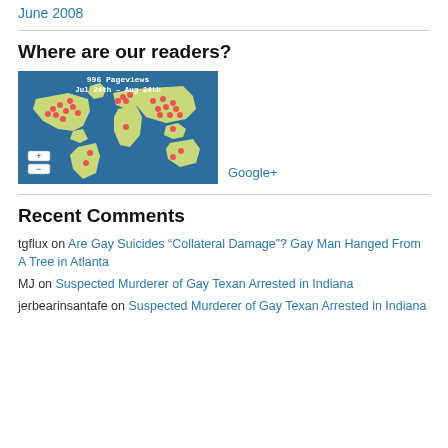June 2008
Where are our readers?
[Figure (map): World map showing 996 Pageviews Jul 24th - Aug 24th, with red dots indicating reader locations across North America, Europe, Asia, and elsewhere.]
Google+
Recent Comments
tgflux on Are Gay Suicides “Collateral Damage”? Gay Man Hanged From A Tree in Atlanta
MJ on Suspected Murderer of Gay Texan Arrested in Indiana
jerbearinsantafe on Suspected Murderer of Gay Texan Arrested in Indiana